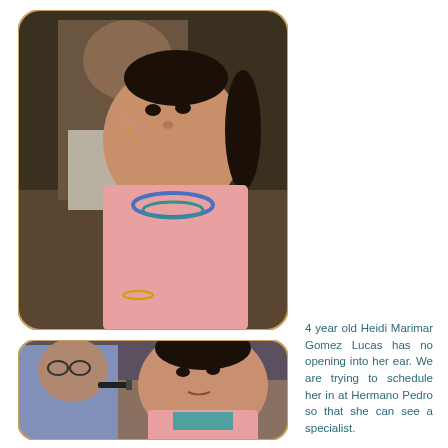[Figure (photo): A young girl approximately 4 years old wearing a pink sweater and blue beaded necklace, sitting and looking to the side. An adult wearing a cross necklace is partially visible behind her.]
4 year old Heidi Marimar Gomez Lucas has no opening into her ear. We are trying to schedule her in at Hermano Pedro so that she can see a specialist.
[Figure (photo): A medical professional examining the ear of a young girl wearing a pink sweater, using an otoscope or similar instrument.]